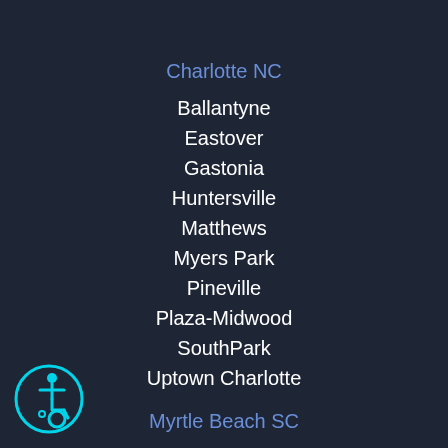Charlotte NC
Ballantyne
Eastover
Gastonia
Huntersville
Matthews
Myers Park
Pineville
Plaza-Midwood
SouthPark
Uptown Charlotte
Myrtle Beach SC
Barefoot Resort & Golf
Bluewater Resort
Carolina Forest
Cypress River Plantation
[Figure (illustration): Accessibility icon — person in wheelchair, cyan circle outline on dark background]